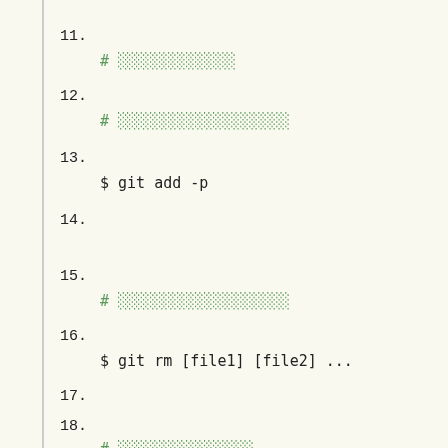11.
# ░░░░░░░░░░░░░
12.
# ░░░░░░░░░░░░░░░░░░░
13.
$ git add -p
14.
15.
# ░░░░░░░░░░░░░░░░░░░
16.
$ git rm [file1] [file2] ...
17.
18.
# ░░░░░░░░░░░░░░░